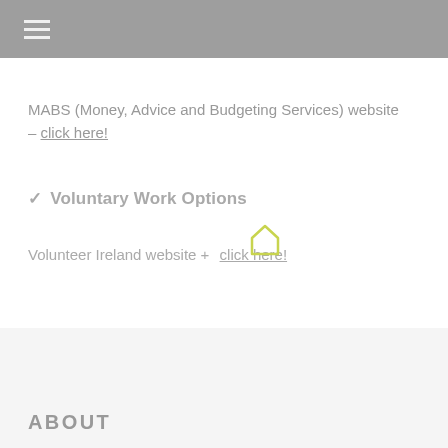MABS (Money, Advice and Budgeting Services) website – click here!
Voluntary Work Options
Volunteer Ireland website + click here!
ABOUT